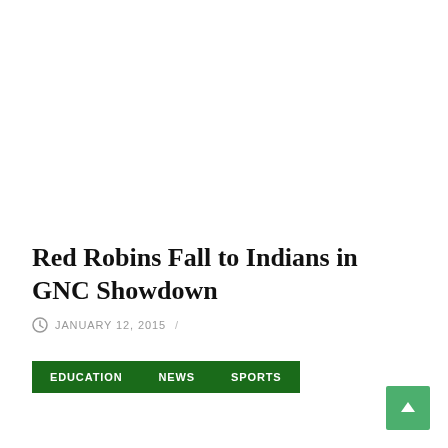Red Robins Fall to Indians in GNC Showdown
JANUARY 12, 2015  /
EDUCATION
NEWS
SPORTS